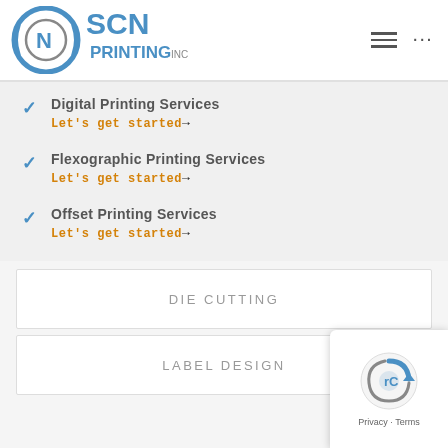[Figure (logo): SCN Printing Inc. logo with circular emblem and blue text]
Digital Printing Services
Let's get started→
Flexographic Printing Services
Let's get started→
Offset Printing Services
Let's get started→
DIE CUTTING
LABEL DESIGN
[Figure (other): reCAPTCHA badge overlay with Privacy - Terms text]